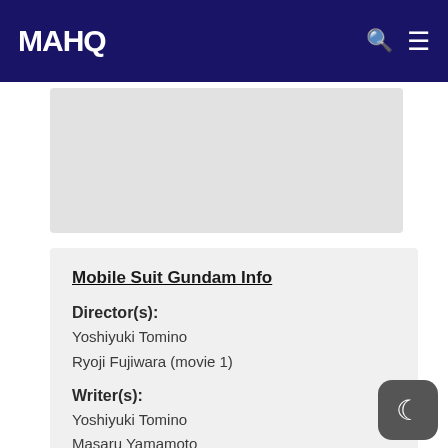MAHQ
[Figure (other): Gray placeholder advertisement/image area]
Mobile Suit Gundam Info
Director(s):
Yoshiyuki Tomino
Ryoji Fujiwara (movie 1)
Writer(s):
Yoshiyuki Tomino
Masaru Yamamoto
Kenichi Matsuzaki
Yoshihisa Araki
Hiroyuki Hoshiyama